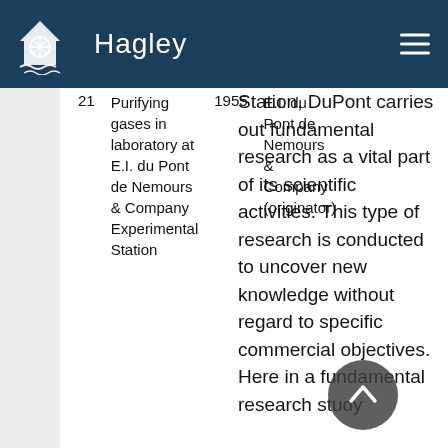Hagley
| # | Description | Year | Originator |
| --- | --- | --- | --- |
| 21 | Purifying gases in laboratory at E.I. du Pont de Nemours & Company Experimental Station | 1955 | E.I. du Pont de Nemours & Company (originator) |
Station, DuPont carries out fundamental research as a vital part of its scientific activities. This type of research is conducted to uncover new knowledge without regard to specific commercial objectives. Here in a fundamental research study